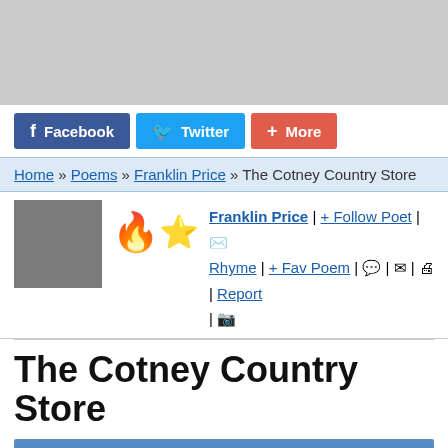[Figure (other): Gray advertisement banner placeholder at top of page]
Facebook  Twitter  + More
Home » Poems » Franklin Price » The Cotney Country Store
[Figure (photo): Author photo of Franklin Price with flame and star emoji trophies]
Franklin Price | + Follow Poet | [email icon] | Rhyme | + Fav Poem | [comment icon] | [mail icon] | [print icon] | Report | [camera icon] |
The Cotney Country Store
Poet's Notes   (Hide)
Become a Premium Member and post notes and photos about your poem like Franklin Price.